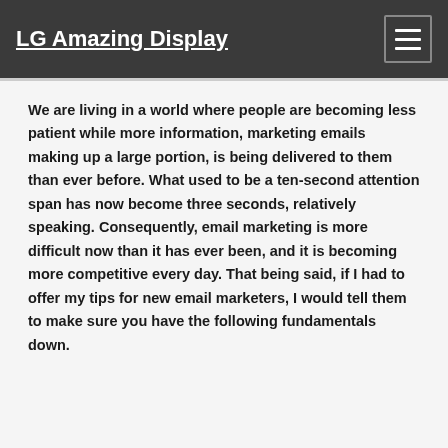LG Amazing Display
We are living in a world where people are becoming less patient while more information, marketing emails making up a large portion, is being delivered to them than ever before. What used to be a ten-second attention span has now become three seconds, relatively speaking. Consequently, email marketing is more difficult now than it has ever been, and it is becoming more competitive every day. That being said, if I had to offer my tips for new email marketers, I would tell them to make sure you have the following fundamentals down.